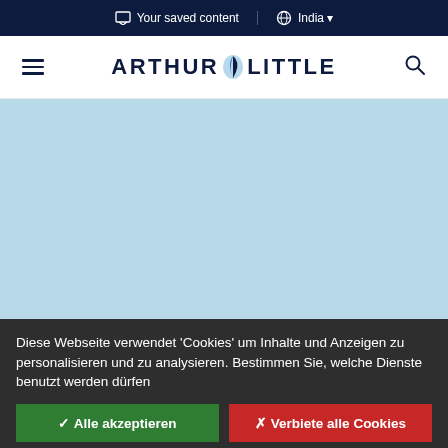Your saved content | India
[Figure (logo): Arthur D. Little logo with hamburger menu and search icon]
[Figure (photo): Light blue hero image area]
Diese Webseite verwendet 'Cookies' um Inhalte und Anzeigen zu personalisieren und zu analysieren. Bestimmen Sie, welche Dienste benutzt werden dürfen
✓ Alle akzeptieren
✗ Verbiete alle Cookies
Personalisieren
Datenschutzbestimmungen